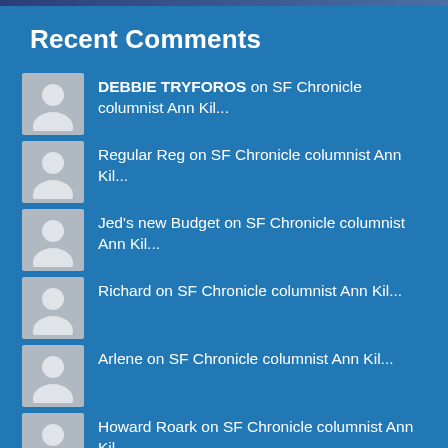Recent Comments
DEBBIE TRYFOROS on SF Chronicle columnist Ann Kil...
Regular Reg on SF Chronicle columnist Ann Kil...
Jed's new Budget on SF Chronicle columnist Ann Kil...
Richard on SF Chronicle columnist Ann Kil...
Arlene on SF Chronicle columnist Ann Kil...
Howard Roark on SF Chronicle columnist Ann Kil...